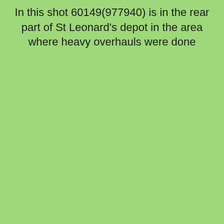In this shot 60149(977940) is in the rear part of St Leonard's depot in the area where heavy overhauls were done